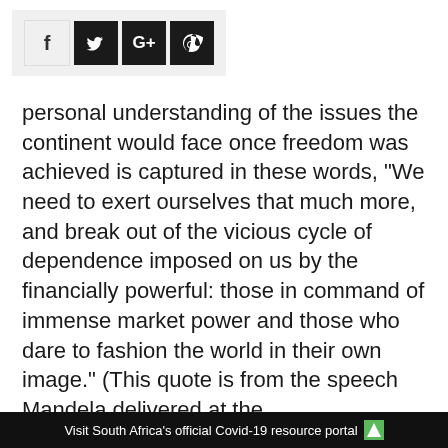[Figure (other): Social media sharing icons: Facebook (f), Twitter (bird), Google+ (G+), WhatsApp (phone)]
personal understanding of the issues the continent would face once freedom was achieved is captured in these words, “We need to exert ourselves that much more, and break out of the vicious cycle of dependence imposed on us by the financially powerful: those in command of immense market power and those who dare to fashion the world in their own image.” (This quote is from the speech Mandela delivered at the
Visit South Africa's official Covid-19 resource portal